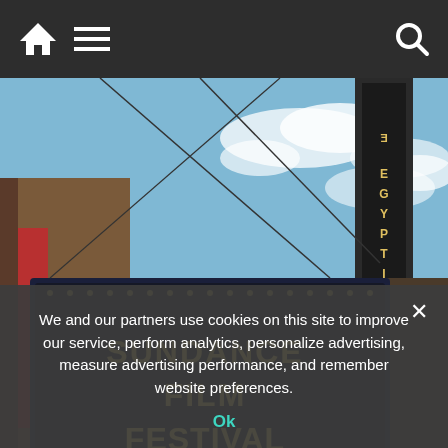Navigation bar with home, menu, and search icons
[Figure (photo): Photo of the Egyptian Theatre marquee sign reading 'SUNDANCE FILM FESTIVAL' with a tall vertical 'EGYPTIAN' sign behind it, blue sky background. Getty Images watermark in bottom left corner.]
Back on: The dates for the 2023 Sundance Film Festival, which will take place in a hybridized format, have officially been announced to the public
which ... virtually is still being decided
We and our partners use cookies on this site to improve our service, perform analytics, personalize advertising, measure advertising performance, and remember website preferences.
Ok